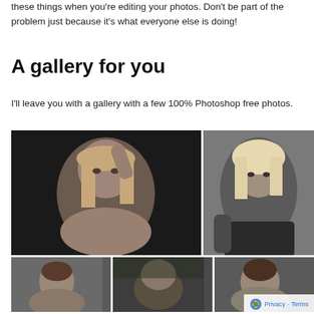these things when you're editing your photos. Don't be part of the problem just because it's what everyone else is doing!
A gallery for you
I'll leave you with a gallery with a few 100% Photoshop free photos.
[Figure (photo): Black and white photo gallery showing female portrait photos in a grid layout. Top row: large portrait of young woman with freckles and hand in hair on left, partial portrait of blonde woman on right. Bottom row: three smaller portrait photos.]
Privacy · Terms